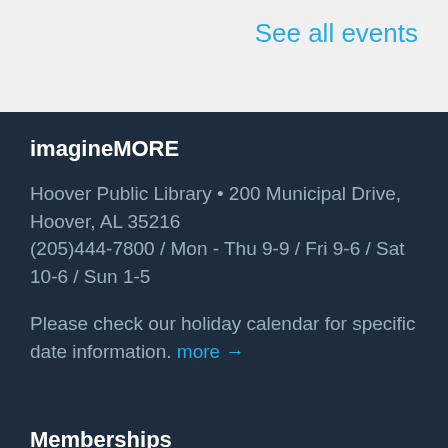See all events
imagineMORE
Hoover Public Library • 200 Municipal Drive, Hoover, AL 35216
(205)444-7800  / Mon - Thu 9-9 / Fri 9-6 / Sat 10-6 / Sun 1-5
Please check our holiday calendar for specific date information. more →
Memberships